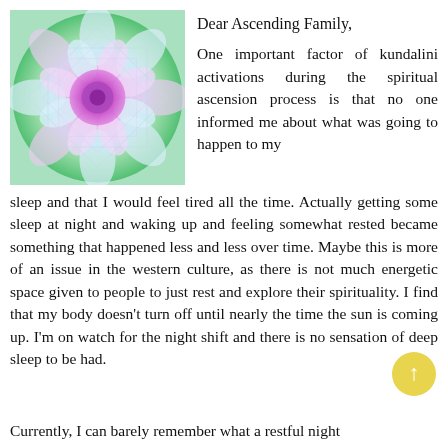[Figure (illustration): A colorful mandala/fractal image with pink, blue, green, and white geometric patterns, centered on a purple core.]
Dear Ascending Family,

One important factor of kundalini activations during the spiritual ascension process is that no one informed me about what was going to happen to my sleep and that I would feel tired all the time. Actually getting some sleep at night and waking up and feeling somewhat rested became something that happened less and less over time. Maybe this is more of an issue in the western culture, as there is not much energetic space given to people to just rest and explore their spirituality. I find that my body doesn't turn off until nearly the time the sun is coming up. I'm on watch for the night shift and there is no sensation of deep sleep to be had.

Currently, I can barely remember what a restful night
[Figure (other): A yellow circular up-arrow button in the bottom right corner.]